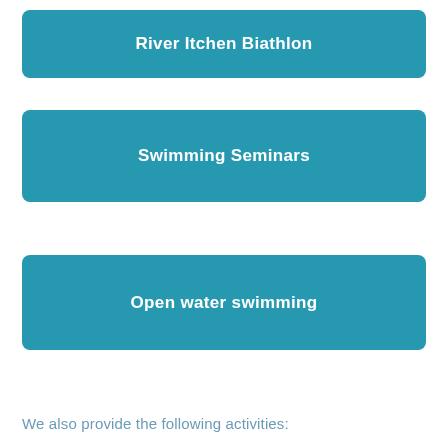River Itchen Biathlon
Swimming Seminars
Open water swimming
We also provide the following activities: